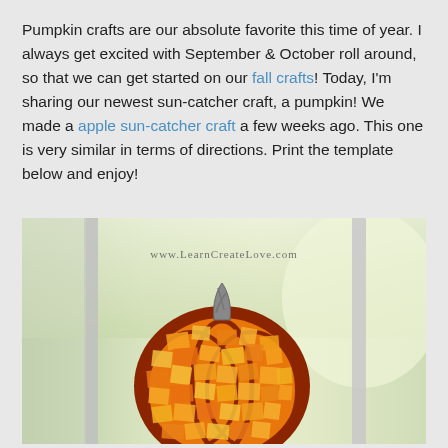Pumpkin crafts are our absolute favorite this time of year. I always get excited with September & October roll around, so that we can get started on our fall crafts! Today, I'm sharing our newest sun-catcher craft, a pumpkin! We made a apple sun-catcher craft a few weeks ago. This one is very similar in terms of directions. Print the template below and enjoy!
[Figure (photo): Photo of a pumpkin sun-catcher craft hanging in a window. The pumpkin is made of orange and yellow tissue paper pieces behind a dark orange/brown outline, with a gray stem on top. Watermark reads www.LearnCreateLove.com]